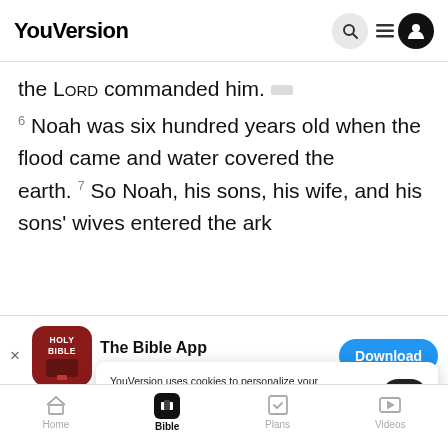YouVersion
the LORD commanded him. 6 Noah was six hundred years old when the flood came and water covered the earth. 7 So Noah, his sons, his wife, and his sons' wives entered the ark
[Figure (screenshot): App install banner for The Bible App with 5 stars, 7.9M ratings and a Download button]
and from the birds and every creature crawls and female, came to Noah and entered the ark, just as
YouVersion uses cookies to personalize your experience. By using our website, you accept our use of cookies as described in our Privacy Policy.
Home | Bible | Plans | Videos